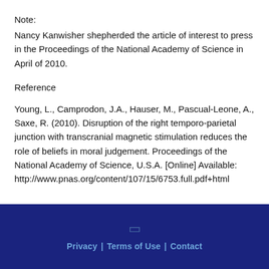Note:
Nancy Kanwisher shepherded the article of interest to press in the Proceedings of the National Academy of Science in April of 2010.
Reference
Young, L., Camprodon, J.A., Hauser, M., Pascual-Leone, A., Saxe, R. (2010). Disruption of the right temporo-parietal junction with transcranial magnetic stimulation reduces the role of beliefs in moral judgement. Proceedings of the National Academy of Science, U.S.A. [Online] Available: http://www.pnas.org/content/107/15/6753.full.pdf+html
Privacy | Terms of Use | Contact